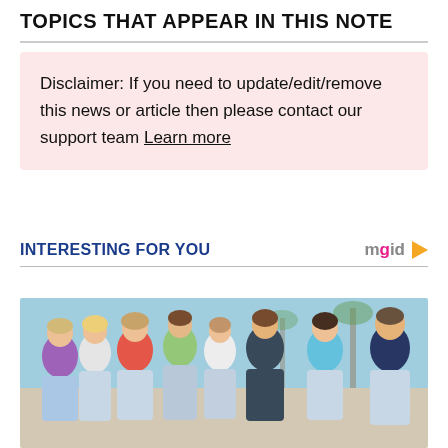TOPICS THAT APPEAR IN THIS NOTE
Disclaimer: If you need to update/edit/remove this news or article then please contact our support team Learn more
INTERESTING FOR YOU
[Figure (photo): Group photo of young adults, approximately 8 people, casually dressed in jeans and colored tops, posed together outdoors with palm trees in background]